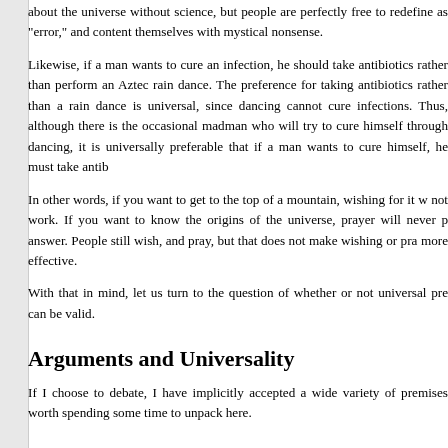about the universe without science, but people are perfectly free to redefine as "error," and content themselves with mystical nonsense.
Likewise, if a man wants to cure an infection, he should take antibiotics rather than perform an Aztec rain dance. The preference for taking antibiotics rather than a rain dance is universal, since dancing cannot cure infections. Thus, although there is the occasional madman who will try to cure himself through dancing, it is universally preferable that if a man wants to cure himself, he must take antibiotics.
In other words, if you want to get to the top of a mountain, wishing for it will not work. If you want to know the origins of the universe, prayer will never provide the answer. People still wish, and pray, but that does not make wishing or praying any more effective.
With that in mind, let us turn to the question of whether or not universal preferences can be valid.
Arguments and Universality
If I choose to debate, I have implicitly accepted a wide variety of premises that are worth spending some time to unpack here.
Premise 1: We Both Exist
If I choose to debate with you, then I necessarily must accept that we both exist. If I believe that I exist, but you do not, then debating makes no sense, and would be the action of a madman. If I were to start arguing with my reflection in a mirror,